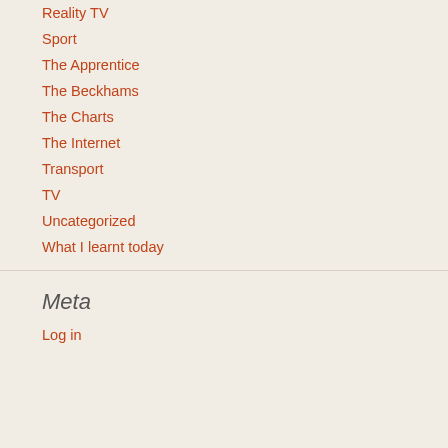Reality TV
Sport
The Apprentice
The Beckhams
The Charts
The Internet
Transport
TV
Uncategorized
What I learnt today
Meta
Log in